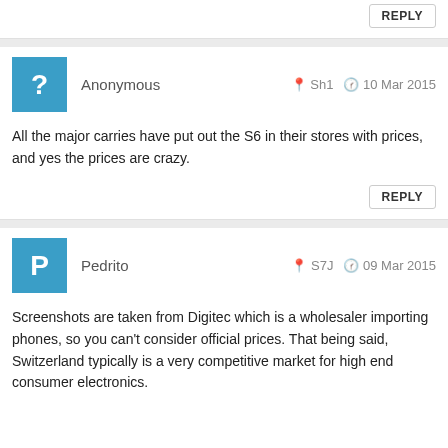REPLY
Anonymous  Sh1  10 Mar 2015
All the major carries have put out the S6 in their stores with prices, and yes the prices are crazy.
REPLY
Pedrito  S7J  09 Mar 2015
Screenshots are taken from Digitec which is a wholesaler importing phones, so you can't consider official prices. That being said, Switzerland typically is a very competitive market for high end consumer electronics.